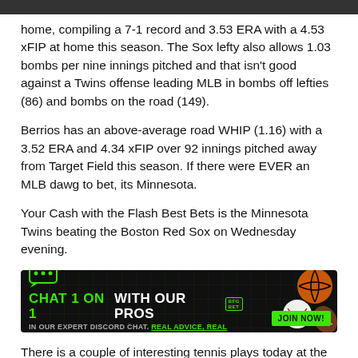home, compiling a 7-1 record and 3.53 ERA with a 4.53 xFIP at home this season. The Sox lefty also allows 1.03 bombs per nine innings pitched and that isn't good against a Twins offense leading MLB in bombs off lefties (86) and bombs on the road (149).
Berrios has an above-average road WHIP (1.16) with a 3.52 ERA and 4.34 xFIP over 92 innings pitched away from Target Field this season. If there were EVER an MLB dawg to bet, its Minnesota.
Your Cash with the Flash Best Bets is the Minnesota Twins beating the Boston Red Sox on Wednesday evening.
[Figure (infographic): Advertisement banner: 'CHAT 1 ON 1 WITH OUR PROS' in green and white bold text with sports betting platform logo, subtitle 'IN OUR EXPERT DISCORD CHAT. REAL ADVICE, REAL RESULTS.' with JOIN NOW button and sports ball imagery on right side.]
There is a couple of interesting tennis plays today at the